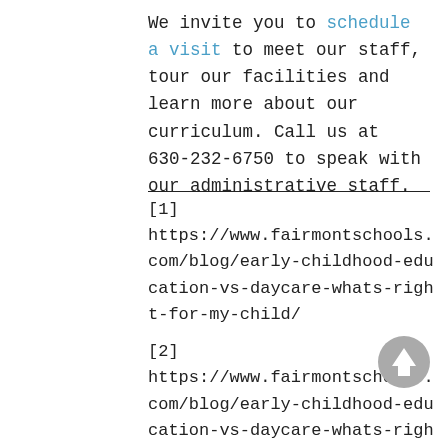We invite you to schedule a visit to meet our staff, tour our facilities and learn more about our curriculum. Call us at 630-232-6750 to speak with our administrative staff.
[1]
https://www.fairmontschools.com/blog/early-childhood-education-vs-daycare-whats-right-for-my-child/
[2]
https://www.fairmontschools.com/blog/early-childhood-education-vs-daycare-whats-right-for-my-child/
[Figure (other): Gray circular up-arrow button icon]